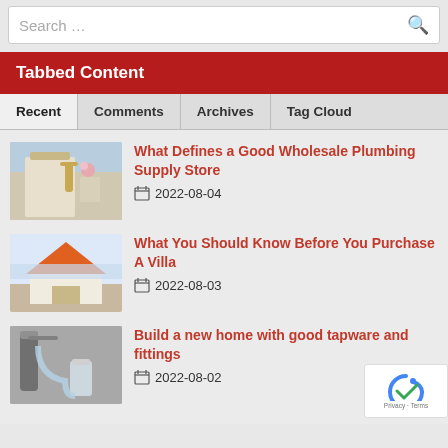Search ...
Tabbed Content
Recent
Comments
Archives
Tag Cloud
What Defines a Good Wholesale Plumbing Supply Store
2022-08-04
What You Should Know Before You Purchase A Villa
2022-08-03
Build a new home with good tapware and fittings
2022-08-02